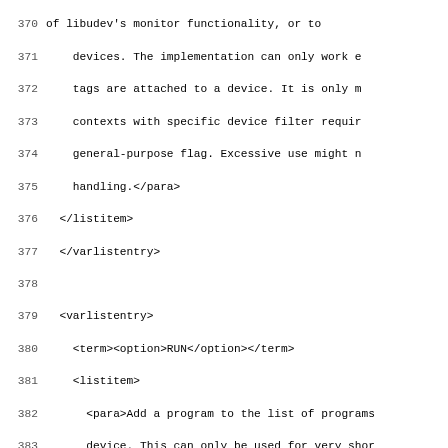Source code / XML listing, lines 370-402, showing varlistentry elements for RUN, LABEL, and GOTO options in what appears to be a udev rules XML documentation file.